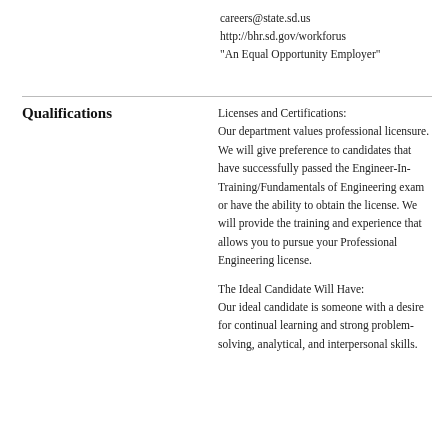careers@state.sd.us
http://bhr.sd.gov/workforus
"An Equal Opportunity Employer"
Qualifications
Licenses and Certifications: Our department values professional licensure. We will give preference to candidates that have successfully passed the Engineer-In-Training/Fundamentals of Engineering exam or have the ability to obtain the license. We will provide the training and experience that allows you to pursue your Professional Engineering license.
The Ideal Candidate Will Have: Our ideal candidate is someone with a desire for continual learning and strong problem-solving, analytical, and interpersonal skills.